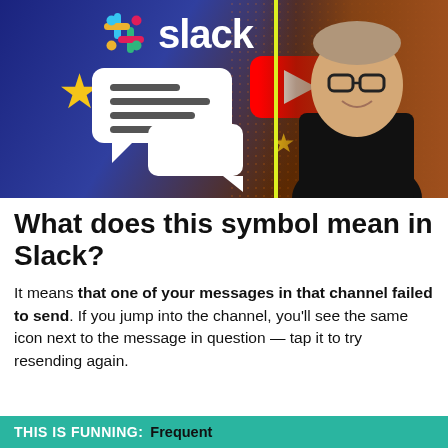[Figure (screenshot): YouTube video thumbnail showing Slack logo, chat bubble icons with stars, YouTube play button, and a man in a black t-shirt with yellow outline cutout against a dark blue/orange gradient background.]
What does this symbol mean in Slack?
It means that one of your messages in that channel failed to send. If you jump into the channel, you'll see the same icon next to the message in question — tap it to try resending again.
THIS IS FUNNING: Frequent